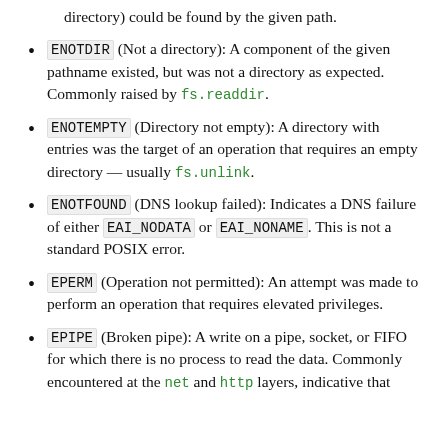directory) could be found by the given path.
ENOTDIR (Not a directory): A component of the given pathname existed, but was not a directory as expected. Commonly raised by fs.readdir.
ENOTEMPTY (Directory not empty): A directory with entries was the target of an operation that requires an empty directory — usually fs.unlink.
ENOTFOUND (DNS lookup failed): Indicates a DNS failure of either EAI_NODATA or EAI_NONAME. This is not a standard POSIX error.
EPERM (Operation not permitted): An attempt was made to perform an operation that requires elevated privileges.
EPIPE (Broken pipe): A write on a pipe, socket, or FIFO for which there is no process to read the data. Commonly encountered at the net and http layers, indicative that